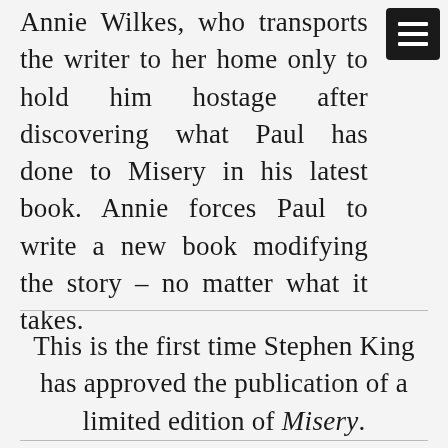Annie Wilkes, who transports the writer to her home only to hold him hostage after discovering what Paul has done to Misery in his latest book. Annie forces Paul to write a new book modifying the story – no matter what it takes.
This is the first time Stephen King has approved the publication of a limited edition of Misery.